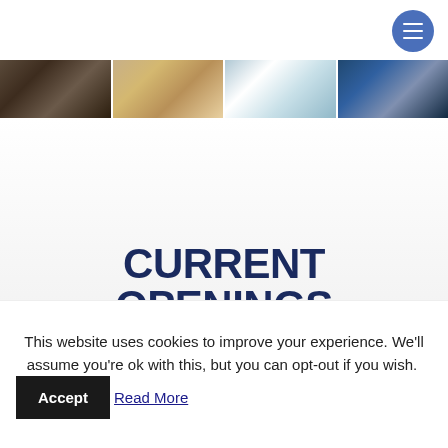[Figure (other): Hamburger menu button (blue circle with three white horizontal lines) in top right corner]
[Figure (photo): A horizontal strip of four photographs showing various people/scenes]
CURRENT OPENINGS
This website uses cookies to improve your experience. We'll assume you're ok with this, but you can opt-out if you wish. Accept Read More